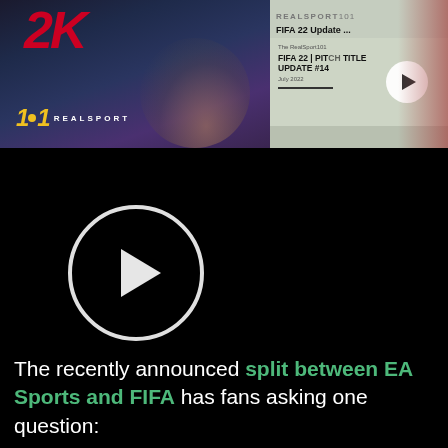[Figure (screenshot): Left thumbnail: RealSport101 branding with 2K logo in red at top, soccer player blurred in background, REALSPORT logo text at bottom left]
[Figure (screenshot): Right thumbnail: FIFA 22 Update video thumbnail with play button, showing 'FIFA 22 | PITCH TITLE UPDATE #14' text on gray background with soccer player on right side]
[Figure (screenshot): Black video player area with large circular play button (white outline, white triangle) positioned on left side]
The recently announced split between EA Sports and FIFA has fans asking one question: